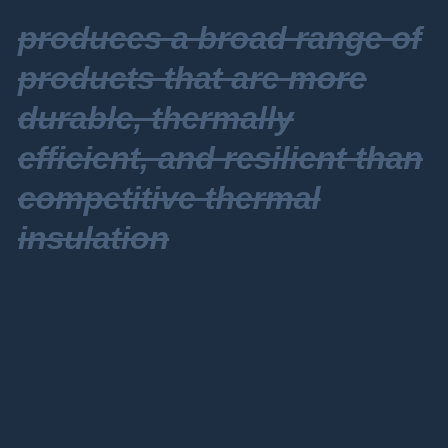produces a broad range of products that are more durable, thermally efficient, and resilient than competitive thermal insulation